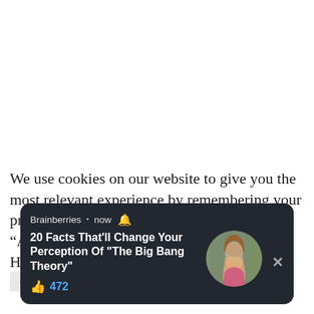We use cookies on our website to give you the most relevant experience by remembering your preferences and repeat visits. By clicking “Accept All”... Ho... pr...
[Figure (screenshot): A browser push notification popup from Brainberries titled '20 Facts That'll Change Your Perception Of "The Big Bang Theory"' with 472 likes, showing a photo of a woman, on a dark rounded background with a close (X) button.]